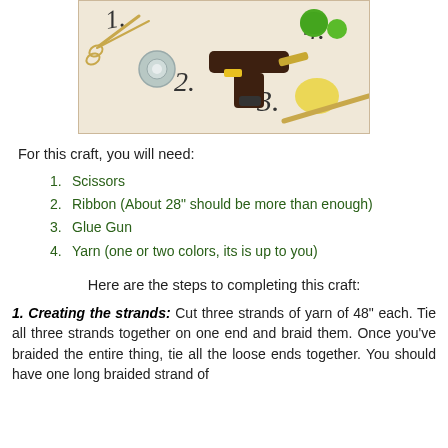[Figure (photo): Craft supplies photo showing scissors, ribbon/tape roll, glue gun, yarn balls, and decorative numbers 1, 2, 3, 4 on a light cream background]
For this craft, you will need:
1. Scissors
2. Ribbon (About 28" should be more than enough)
3. Glue Gun
4. Yarn (one or two colors, its is up to you)
Here are the steps to completing this craft:
1. Creating the strands: Cut three strands of yarn of 48" each. Tie all three strands together on one end and braid them. Once you've braided the entire thing, tie all the loose ends together. You should have one long braided strand of